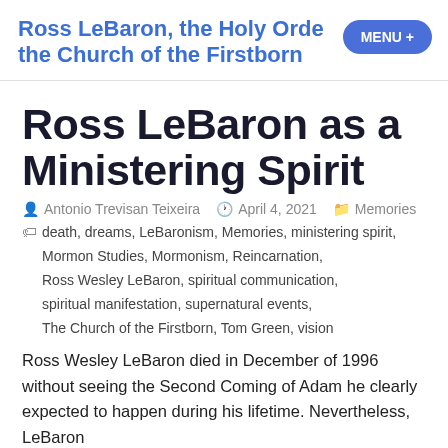Ross LeBaron, the Holy Order, the Church of the Firstborn
Ross LeBaron as a Ministering Spirit
Antonio Trevisan Teixeira  April 4, 2021  Memories
death, dreams, LeBaronism, Memories, ministering spirit, Mormon Studies, Mormonism, Reincarnation, Ross Wesley LeBaron, spiritual communication, spiritual manifestation, supernatural events, The Church of the Firstborn, Tom Green, vision
Ross Wesley LeBaron died in December of 1996 without seeing the Second Coming of Adam he clearly expected to happen during his lifetime. Nevertheless, LeBaron